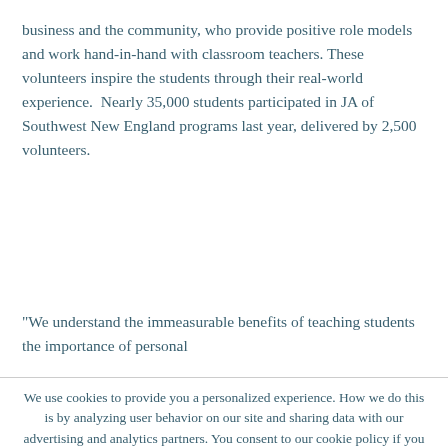business and the community, who provide positive role models and work hand-in-hand with classroom teachers. These volunteers inspire the students through their real-world experience.  Nearly 35,000 students participated in JA of Southwest New England programs last year, delivered by 2,500 volunteers.
“We understand the immeasurable benefits of teaching students the importance of personal
We use cookies to provide you a personalized experience. How we do this is by analyzing user behavior on our site and sharing data with our advertising and analytics partners. You consent to our cookie policy if you continue to use this website.
I UNDERSTAND